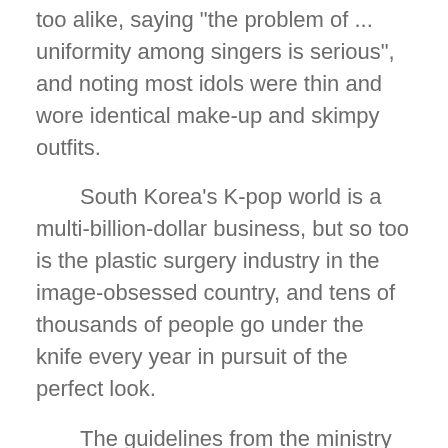too alike, saying "the problem of … uniformity among singers is serious", and noting most idols were thin and wore identical make-up and skimpy outfits.
South Korea's K-pop world is a multi-billion-dollar business, but so too is the plastic surgery industry in the image-obsessed country, and tens of thousands of people go under the knife every year in pursuit of the perfect look.
The guidelines from the ministry of gender equality drew criticism online -- and also from a lawmaker who said it was reminiscent of censorship during the country's period of authoritarian government which ended in 1980s.